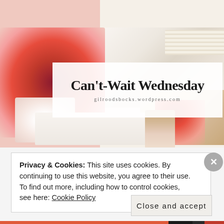[Figure (photo): Blog header banner for 'Can't-Wait Wednesday' from gilroodsbocks.wordpress.com. Collage of lifestyle/flat-lay photos including red and white flowers, marble surface with phone and notebook, jewelry with red earrings and tassels, and a white box. White overlay rectangle contains the blog title.]
Can't-Wait Wednesday
gilroodsbocks.wordpress.com
Privacy & Cookies: This site uses cookies. By continuing to use this website, you agree to their use.
To find out more, including how to control cookies, see here: Cookie Policy
Close and accept